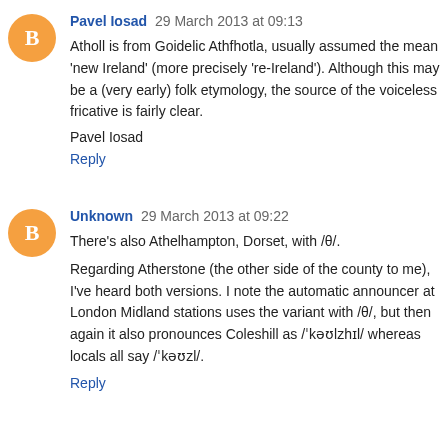Pavel Iosad  29 March 2013 at 09:13
Atholl is from Goidelic Athfhotla, usually assumed the mean 'new Ireland' (more precisely 're-Ireland'). Although this may be a (very early) folk etymology, the source of the voiceless fricative is fairly clear.
Pavel Iosad
Reply
Unknown  29 March 2013 at 09:22
There's also Athelhampton, Dorset, with /θ/.
Regarding Atherstone (the other side of the county to me), I've heard both versions. I note the automatic announcer at London Midland stations uses the variant with /θ/, but then again it also pronounces Coleshill as /ˈkəʊlzhɪl/ whereas locals all say /ˈkəʊzl/.
Reply